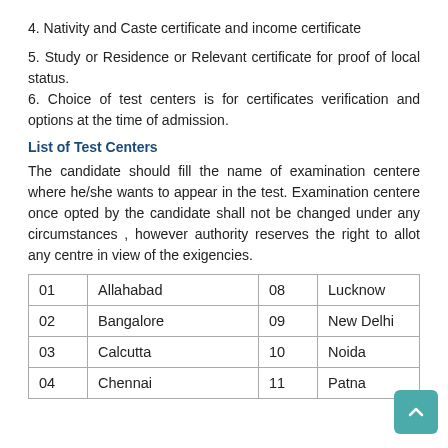4. Nativity and Caste certificate and income certificate
5. Study or Residence or Relevant certificate for proof of local status.
6. Choice of test centers is for certificates verification and options at the time of admission.
List of Test Centers
The candidate should fill the name of examination centere where he/she wants to appear in the test. Examination centere once opted by the candidate shall not be changed under any circumstances , however authority reserves the right to allot any centre in view of the exigencies.
| 01 | Allahabad | 08 | Lucknow |
| 02 | Bangalore | 09 | New Delhi |
| 03 | Calcutta | 10 | Noida |
| 04 | Chennai | 11 | Patna |